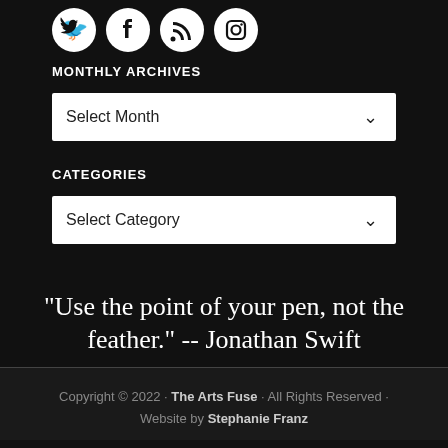[Figure (illustration): Social media icons: Twitter, Facebook, RSS, Instagram in white circles on black background]
MONTHLY ARCHIVES
Select Month (dropdown)
CATEGORIES
Select Category (dropdown)
"Use the point of your pen, not the feather." -- Jonathan Swift
Copyright © 2022 · The Arts Fuse · All Rights Reserved · Website by Stephanie Franz